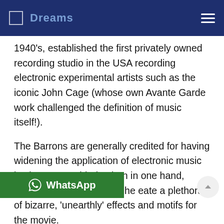Dreams
1940's, established the first privately owned recording studio in the USA recording electronic experimental artists such as the iconic John Cage (whose own Avante Garde work challenged the definition of music itself!).
The Barrons are generally credited for having widening the application of electronic music in cinema. A soldering iron in one hand, Louis built circuitry which he [used to cr]eate a plethora of bizarre, 'unearthly' effects and motifs for the movie.